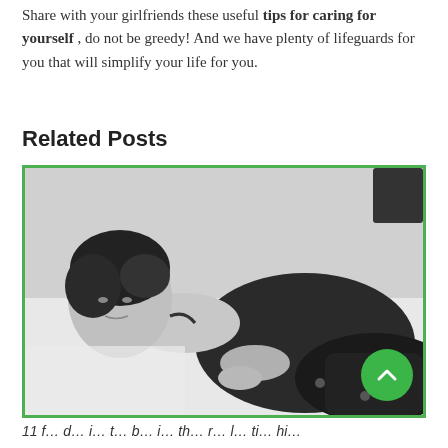Share with your girlfriends these useful tips for caring for yourself, do not be greedy! And we have plenty of lifeguards for you that will simplify your life for you.
Related Posts
[Figure (photo): Black and white photo of a young woman with short dark hair lying on a white surface, wearing a black top and dark pants, looking at the camera.]
11 f... d... i... t... b... i... th... l... ti... hi...